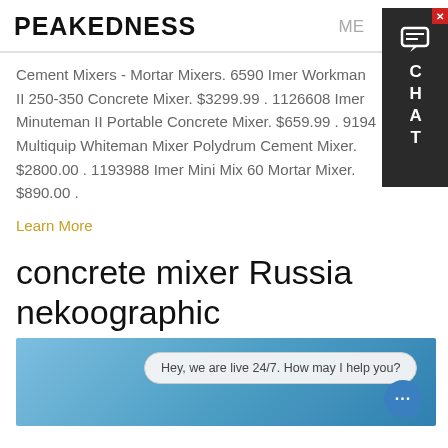PEAKEDNESS   ME...
Cement Mixers - Mortar Mixers. 6590 Imer Workman II 250-350 Concrete Mixer. $3299.99 . 1126608 Imer Minuteman II Portable Concrete Mixer. $659.99 . 9194 Multiquip Whiteman Mixer Polydrum Cement Mixer. $2800.00 . 1193988 Imer Mini Mix 60 Mortar Mixer. $890.00 .
Learn More
concrete mixer Russia nekoographic
[Figure (screenshot): Blue sky background image with a live chat bubble saying 'Hey, we are live 24/7. How may I help you?' and a round blue chat button with three dots.]